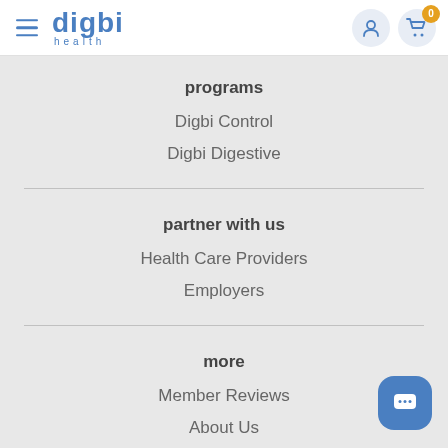[Figure (logo): Digbi Health logo with hamburger menu icon on left and user/cart icons on right in header navigation bar]
programs
Digbi Control
Digbi Digestive
partner with us
Health Care Providers
Employers
more
Member Reviews
About Us
Science Talk
Research Study